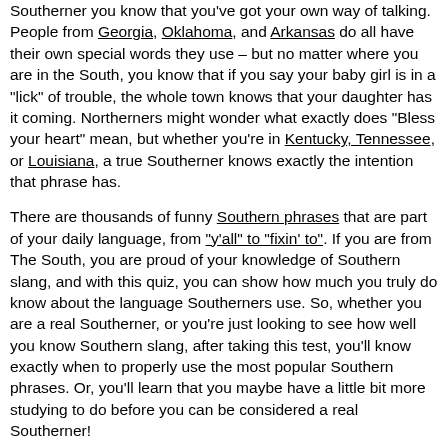Southerner you know that you've got your own way of talking. People from Georgia, Oklahoma, and Arkansas do all have their own special words they use – but no matter where you are in the South, you know that if you say your baby girl is in a "lick" of trouble, the whole town knows that your daughter has it coming. Northerners might wonder what exactly does "Bless your heart" mean, but whether you're in Kentucky, Tennessee, or Louisiana, a true Southerner knows exactly the intention that phrase has.
There are thousands of funny Southern phrases that are part of your daily language, from "y'all" to "fixin' to". If you are from The South, you are proud of your knowledge of Southern slang, and with this quiz, you can show how much you truly do know about the language Southerners use. So, whether you are a real Southerner, or you're just looking to see how well you know Southern slang, after taking this test, you'll know exactly when to properly use the most popular Southern phrases. Or, you'll learn that you maybe have a little bit more studying to do before you can be considered a real Southerner!
With questions like "Do the words "pen" and "pin" sound the same to you?" or "What does the word "get" rhyme with?," this quiz is the ultimate opportunity to show off your Southern pronunciation skills. Not often do you have the chance to challenge the slang terms that you grew up with, and every Southerner should take this test and see if they use and understand these Southern words and exactly how to pronounce them!